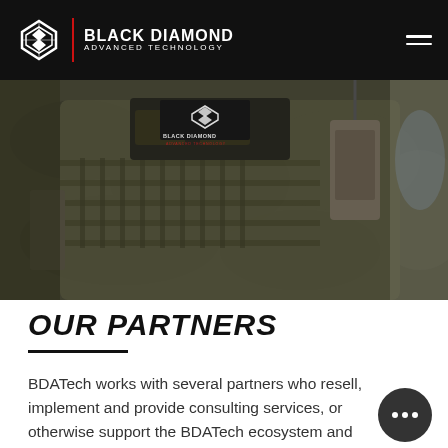BLACK DIAMOND ADVANCED TECHNOLOGY
[Figure (photo): Close-up photo of military tactical vest/plate carrier with Black Diamond Advanced Technology logo patch and equipment attached, in a field setting]
OUR PARTNERS
BDATech works with several partners who resell, implement and provide consulting services, or otherwise support the BDATech ecosystem and mission. These include both organizations that focus on the defense